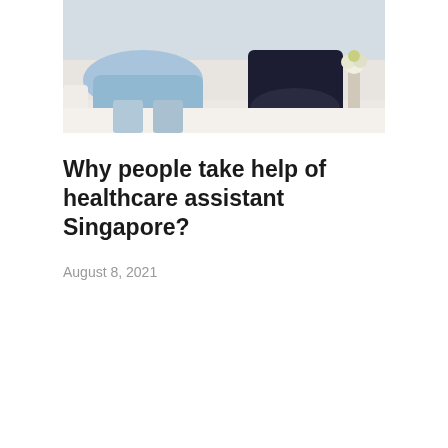[Figure (photo): Two people (one in light blue clothing, one in dark navy) sitting on a white couch, with white flowers visible in the background]
Why people take help of healthcare assistant Singapore?
August 8, 2021